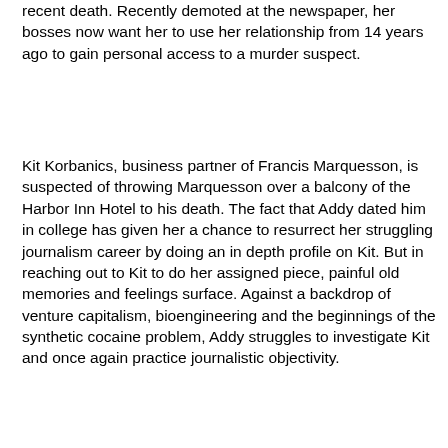recent death. Recently demoted at the newspaper, her bosses now want her to use her relationship from 14 years ago to gain personal access to a murder suspect.
Kit Korbanics, business partner of Francis Marquesson, is suspected of throwing Marquesson over a balcony of the Harbor Inn Hotel to his death. The fact that Addy dated him in college has given her a chance to resurrect her struggling journalism career by doing an in depth profile on Kit. But in reaching out to Kit to do her assigned piece, painful old memories and feelings surface. Against a backdrop of venture capitalism, bioengineering and the beginnings of the synthetic cocaine problem, Addy struggles to investigate Kit and once again practice journalistic objectivity.
Featuring a sympathetic main character, this novel slowly moves forward in cozy style and tantalizes the reader with clues and misdirection. Much like her second novel “Confidential Source” (reviewed below) Addy deals with the same issues of substance abuse, inability to sleep, and drawing the line between her life as a reporter and her personal life. While the heroines are differently named,